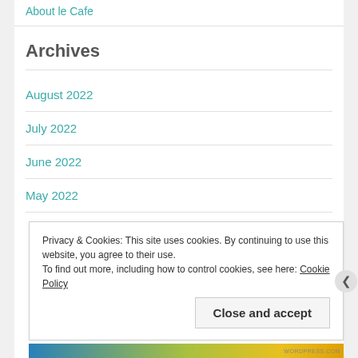About le Cafe
Archives
August 2022
July 2022
June 2022
May 2022
Privacy & Cookies: This site uses cookies. By continuing to use this website, you agree to their use. To find out more, including how to control cookies, see here: Cookie Policy
Close and accept